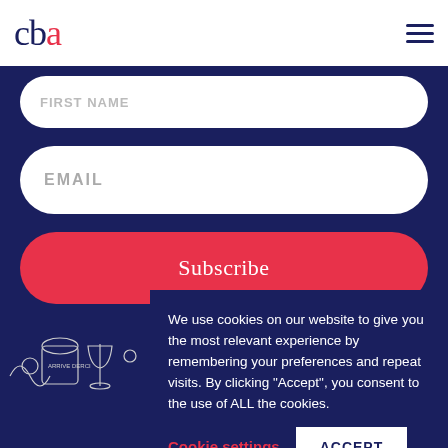[Figure (logo): CBA logo in dark navy blue with a red dot accent on the letter 'a']
FIRST NAME
EMAIL
Subscribe
[Figure (illustration): Line art illustration showing decorative elements with 'Arrive Derci' text, flowers, and a wine glass]
We use cookies on our website to give you the most relevant experience by remembering your preferences and repeat visits. By clicking “Accept”, you consent to the use of ALL the cookies.
Cookie settings
ACCEPT